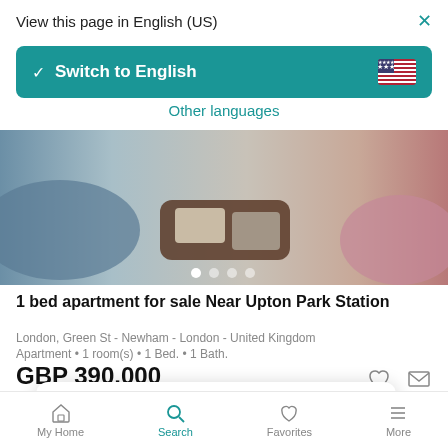View this page in English (US)
[Figure (screenshot): Switch to English button with US flag, teal background, white checkmark and text]
Other languages
[Figure (photo): Interior room photo showing sofa furniture with books on a tray, partial view]
1 bed apartment for sale Near Upton Park Station
London, Green St - Newham - London - United Kingdom
Apartment • 1 room(s) • 1 Bed. • 1 Bath.
GBP 390.000
Want to get updates?  Save search
My Home   Search   Favorites   More